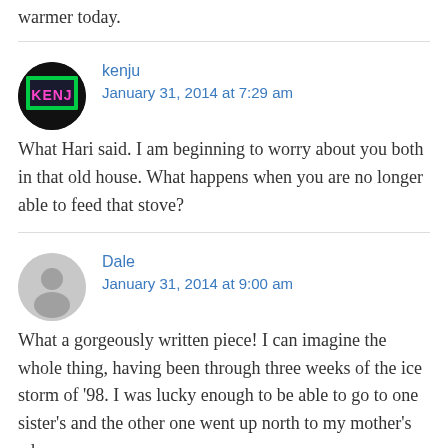warmer today.
kenju
January 31, 2014 at 7:29 am
What Hari said. I am beginning to worry about you both in that old house. What happens when you are no longer able to feed that stove?
Dale
January 31, 2014 at 9:00 am
What a gorgeously written piece! I can imagine the whole thing, having been through three weeks of the ice storm of '98. I was lucky enough to be able to go to one sister's and the other one went up north to my mother's where